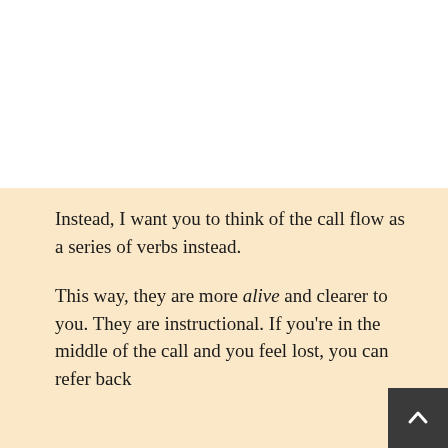Instead, I want you to think of the call flow as a series of verbs instead.
This way, they are more alive and clearer to you. They are instructional. If you're in the middle of the call and you feel lost, you can refer back